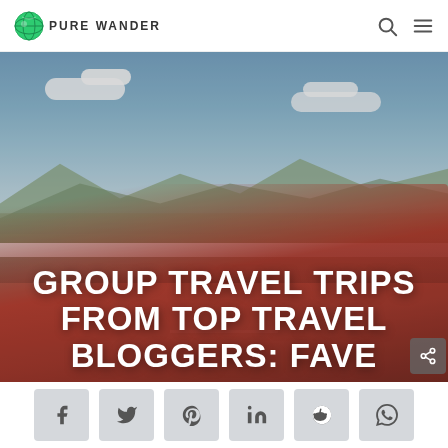PURE WANDER
[Figure (photo): Four young people celebrating on and around a red car on a road through desert landscape, arms raised joyfully, with mountains and blue sky in background. Large white bold text overlaid reads 'GROUP TRAVEL TRIPS FROM TOP TRAVEL BLOGGERS: FAVE']
GROUP TRAVEL TRIPS FROM TOP TRAVEL BLOGGERS: FAVE